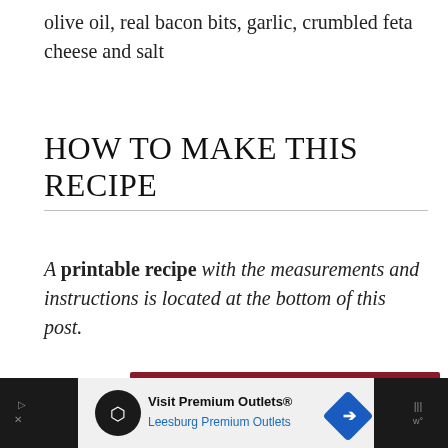olive oil, real bacon bits, garlic, crumbled feta cheese and salt
HOW TO MAKE THIS RECIPE
A printable recipe with the measurements and instructions is located at the bottom of this post.
[Figure (other): Advertisement banner with dark red background showing a black dog and the text 'CHANGE A LIFE' with a heart icon and close button]
[Figure (other): Bottom advertisement banner for Visit Premium Outlets / Leesburg Premium Outlets with dark background, circle logo, navigation arrow icon, and audio controls icon]